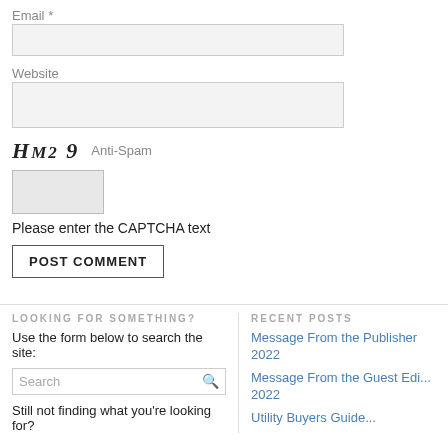Email *
[Figure (screenshot): Empty text input field for Email]
Website
[Figure (screenshot): Empty text input field for Website]
H M2 9  Anti-Spam
[Figure (screenshot): CAPTCHA input box]
Please enter the CAPTCHA text
POST COMMENT
LOOKING FOR SOMETHING?
Use the form below to search the site:
[Figure (screenshot): Search input box with search icon]
Still not finding what you're looking for?
RECENT POSTS
Message From the Publisher 2022
Message From the Guest Edi... 2022
Utility Buyers Guide...